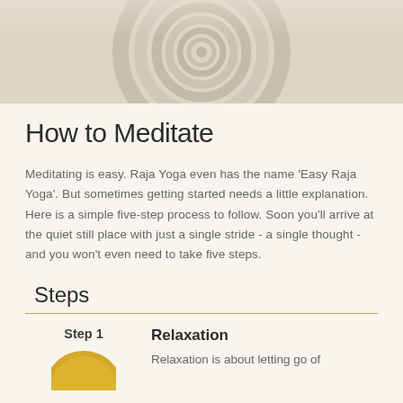[Figure (photo): Decorative header image showing a spiral/circular architectural or ceramic detail in beige/cream tones]
How to Meditate
Meditating is easy. Raja Yoga even has the name 'Easy Raja Yoga'. But sometimes getting started needs a little explanation. Here is a simple five-step process to follow. Soon you'll arrive at the quiet still place with just a single stride - a single thought - and you won't even need to take five steps.
Steps
Step 1 — Relaxation: Relaxation is about letting go of
[Figure (illustration): Circular golden/yellow icon for Step 1 - partially visible at bottom of page]